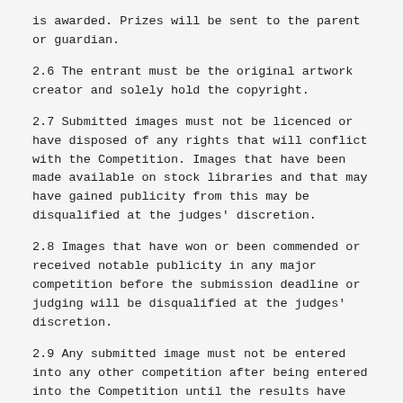is awarded. Prizes will be sent to the parent or guardian.
2.6 The entrant must be the original artwork creator and solely hold the copyright.
2.7 Submitted images must not be licenced or have disposed of any rights that will conflict with the Competition. Images that have been made available on stock libraries and that may have gained publicity from this may be disqualified at the judges' discretion.
2.8 Images that have won or been commended or received notable publicity in any major competition before the submission deadline or judging will be disqualified at the judges' discretion.
2.9 Any submitted image must not be entered into any other competition after being entered into the Competition until the results have been announced.